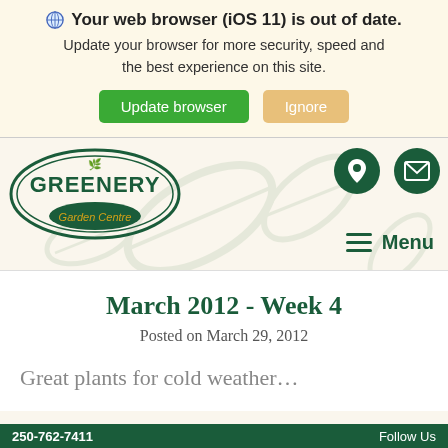Your web browser (iOS 11) is out of date. Update your browser for more security, speed and the best experience on this site.
[Figure (screenshot): Greenery Garden Centre logo with oval border and leaf decoration, dark green colors]
[Figure (infographic): Navigation icons: location pin and envelope (mail) in dark green circles; hamburger menu lines with Menu text]
March 2012 - Week 4
Posted on March 29, 2012
Great plants for cold weather…
250-762-7411   Follow Us